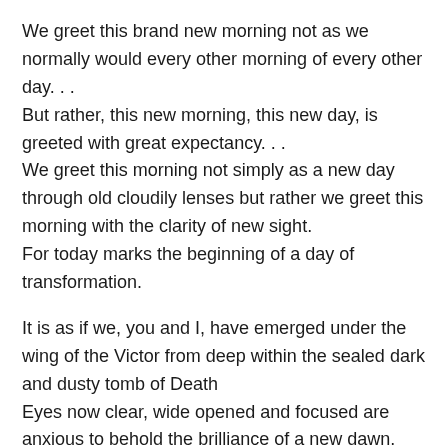We greet this brand new morning not as we normally would every other morning of every other day. . . But rather, this new morning, this new day, is greeted with great expectancy. . . We greet this morning not simply as a new day through old cloudily lenses but rather we greet this morning with the clarity of new sight. For today marks the beginning of a day of transformation.
It is as if we, you and I, have emerged under the wing of the Victor from deep within the sealed dark and dusty tomb of Death Eyes now clear, wide opened and focused are anxious to behold the brilliance of a new dawn.
And we greet this new morning with a song. . .